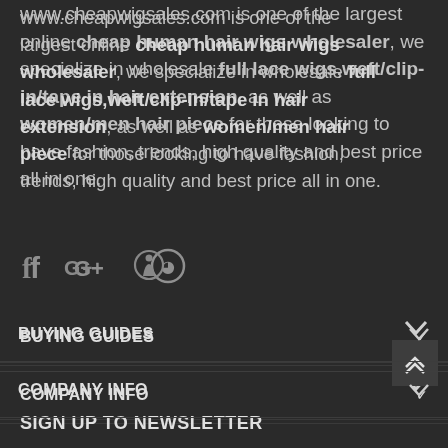www.cheapwigsales.com is one of the largest online cheap human hair wigs wholesaler, we specialize in wholesale full lace wigs,weft/clip-in/tape in hair extension, as well as women/men hair piece for those looking to have fashion, trends, high quality and best price all in one.
[Figure (other): Social media icons: Facebook (f), Google+ (G+), Pinterest (circle with P)]
BUYING GUIDES
COMPANY INFO
YOUR ACCOUNT
SIGN UP TO NEWSLETTER